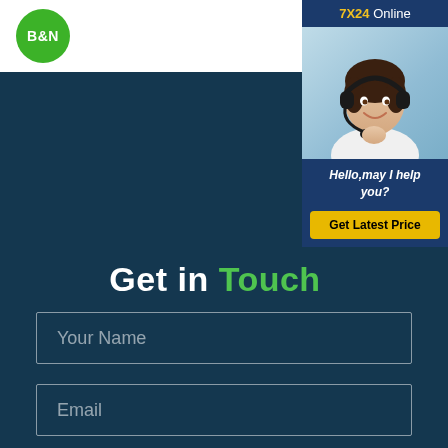[Figure (logo): B&N company logo — white bold text on green circle]
[Figure (illustration): Hamburger menu icon with three green horizontal lines]
[Figure (infographic): 7X24 Online customer support chat widget with photo of woman wearing headset, Hello may I help you? message, and Get Latest Price button]
Get in Touch
Your Name
Email